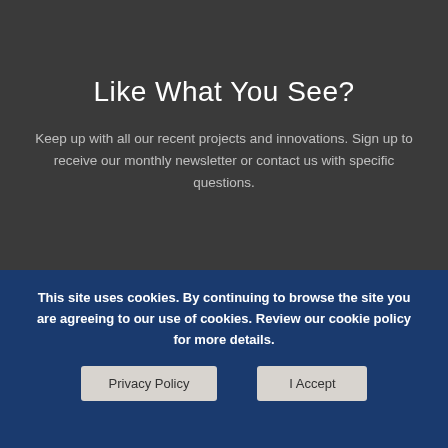Like What You See?
Keep up with all our recent projects and innovations. Sign up to receive our monthly newsletter or contact us with specific questions.
This site uses cookies. By continuing to browse the site you are agreeing to our use of cookies. Review our cookie policy for more details.
Privacy Policy
I Accept